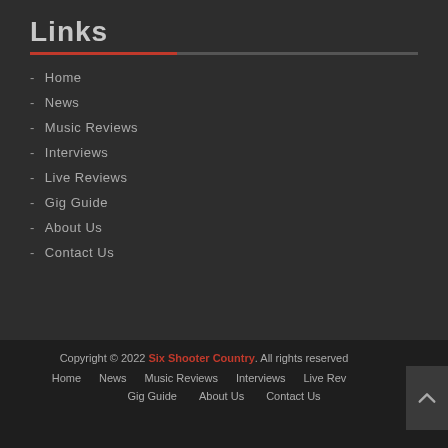Links
- Home
- News
- Music Reviews
- Interviews
- Live Reviews
- Gig Guide
- About Us
- Contact Us
Copyright © 2022 Six Shooter Country. All rights reserved
Home  News  Music Reviews  Interviews  Live Rev
Gig Guide  About Us  Contact Us